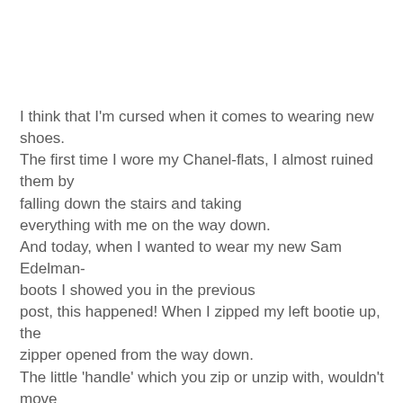I think that I'm cursed when it comes to wearing new shoes. The first time I wore my Chanel-flats, I almost ruined them by falling down the stairs and taking everything with me on the way down. And today, when I wanted to wear my new Sam Edelman-boots I showed you in the previous post, this happened! When I zipped my left bootie up, the zipper opened from the way down. The little 'handle' which you zip or unzip with, wouldn't move anymore, which means my foot was trapped in my bootie.
After almost throwing a vase out of the window and my mom almost ripping my foot off when she was trying to move the zip down, I decided to go to the store where I bought the boots. (I bought them at 1927 in Maasmechelen Village!)